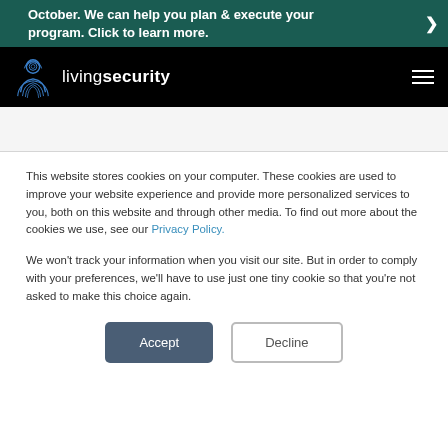October. We can help you plan & execute your program. Click to learn more.
[Figure (logo): Living Security logo with fingerprint person icon and text 'livingsecurity' on black navbar background]
This website stores cookies on your computer. These cookies are used to improve your website experience and provide more personalized services to you, both on this website and through other media. To find out more about the cookies we use, see our Privacy Policy.
We won't track your information when you visit our site. But in order to comply with your preferences, we'll have to use just one tiny cookie so that you're not asked to make this choice again.
Accept  Decline